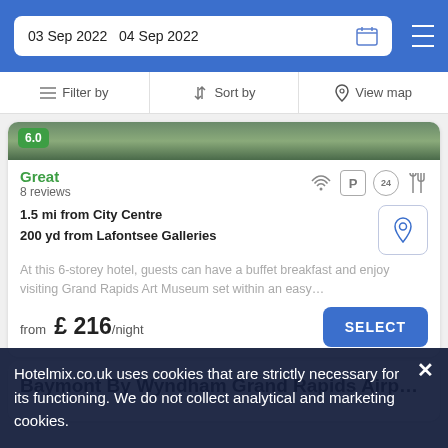03 Sep 2022  04 Sep 2022
Filter by   Sort by   View map
Great
8 reviews
1.5 mi from City Centre
200 yd from Lafontsee Galleries
At this 6-storey hotel, guests can have a buffet breakfast and enjoy visiting Grand Rapids Art Museum set within an easy…
from £ 216/night
Baymont By Wyndham Grand Rapids Airp…
Hotelmix.co.uk uses cookies that are strictly necessary for its functioning. We do not collect analytical and marketing cookies.